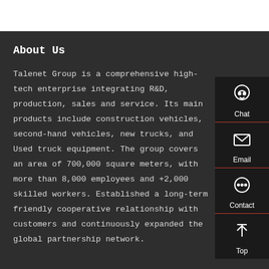About Us
Talenet Group is a comprehensive high-tech enterprise integrating R&D, production, sales and service. Its main products include construction vehicles, second-hand vehicles, new trucks, and Used truck equipment. The group covers an area of 700,000 square meters, with more than 8,000 employees and +2,000 skilled workers. Established a long-term friendly cooperative relationship with customers and continuously expanded the global partnership network.